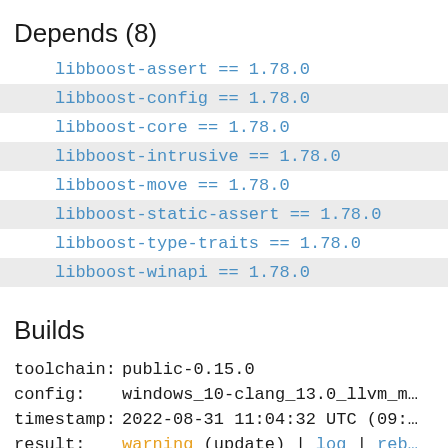Depends (8)
libboost-assert == 1.78.0
libboost-config == 1.78.0
libboost-core == 1.78.0
libboost-intrusive == 1.78.0
libboost-move == 1.78.0
libboost-static-assert == 1.78.0
libboost-type-traits == 1.78.0
libboost-winapi == 1.78.0
Builds
toolchain:  public-0.15.0
config:     windows_10-clang_13.0_llvm_m…
timestamp:  2022-08-31 11:04:32 UTC (09:…
result:     warning (update) | log | reb…